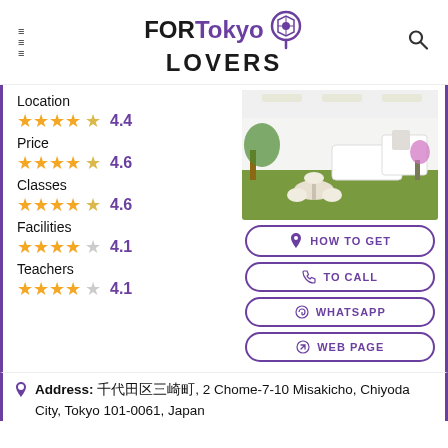FOR Tokyo LOVERS
[Figure (logo): FORTokyo LOVERS logo with location pin icon]
Location
★★★★☆ 4.4
Price
★★★★☆ 4.6
Classes
★★★★☆ 4.6
Facilities
★★★★☆ 4.1
Teachers
★★★★☆ 4.1
[Figure (photo): Interior photo of a language school office with green carpet, white furniture, round tables, chairs, and plants]
HOW TO GET
TO CALL
WHATSAPP
WEB PAGE
Address: 千代田区三崎町, 2 Chome-7-10 Misakicho, Chiyoda City, Tokyo 101-0061, Japan